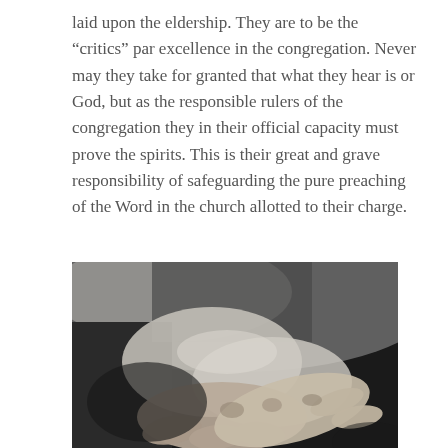laid upon the eldership. They are to be the “critics” par excellence in the congregation. Never may they take for granted that what they hear is or God, but as the responsible rulers of the congregation they in their official capacity must prove the spirits. This is their great and grave responsibility of safeguarding the pure preaching of the Word in the church allotted to their charge.
[Figure (photo): Black and white photograph of elderly hands, close-up, showing folded or clasped aged hands wearing a light-colored shirt sleeve, with dark background.]